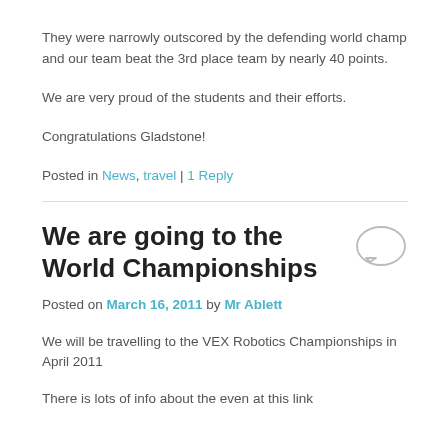They were narrowly outscored by the defending world champ and our team beat the 3rd place team by nearly 40 points.
We are very proud of the students and their efforts.
Congratulations Gladstone!
Posted in News, travel | 1 Reply
We are going to the World Championships
Posted on March 16, 2011 by Mr Ablett
We will be travelling to the VEX Robotics Championships in April 2011
There is lots of info about the even at this link